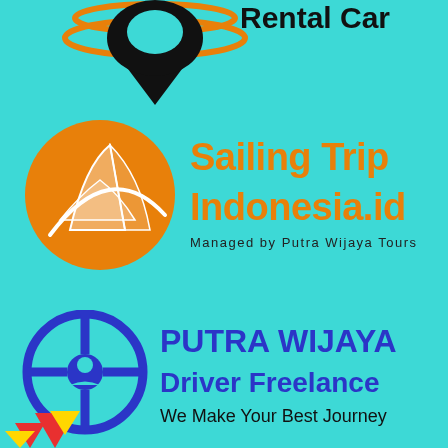[Figure (logo): Partial top logo with black map pin / location icon and orange arc rings, with text 'Rental Car' partially visible at top right]
[Figure (logo): Sailing Trip Indonesia.id logo: orange circle with sailing boat silhouette on the left, orange bold text 'Sailing Trip Indonesia.id' on the right, subtitle 'Managed by Putra Wijaya Tours' in dark text below]
[Figure (logo): Putra Wijaya Driver Freelance logo: blue circular steering wheel / life preserver icon on the left, bold blue 'PUTRA WIJAYA' text, blue 'Driver Freelance' text, and black 'We Make Your Best Journey' tagline]
[Figure (logo): Partial logo at bottom left corner, showing red and yellow star/burst shapes, partially cut off]